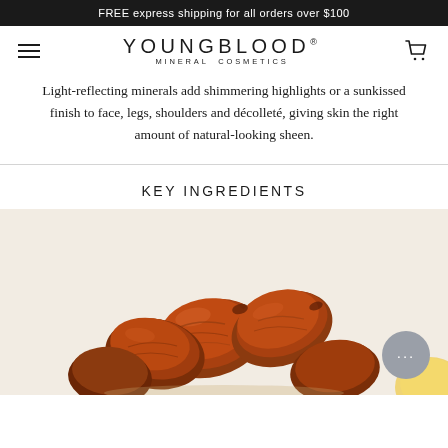FREE express shipping for all orders over $100
[Figure (logo): Youngblood Mineral Cosmetics logo with hamburger menu icon on the left and shopping cart icon on the right]
Light-reflecting minerals add shimmering highlights or a sunkissed finish to face, legs, shoulders and décolleté, giving skin the right amount of natural-looking sheen.
KEY INGREDIENTS
[Figure (photo): Close-up photo of medjool dates, golden-brown colored fruit, used as a key ingredient]